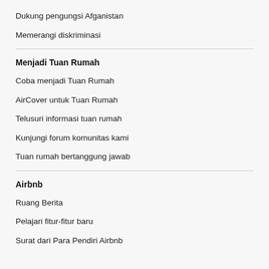Dukung pengungsi Afganistan
Memerangi diskriminasi
Menjadi Tuan Rumah
Coba menjadi Tuan Rumah
AirCover untuk Tuan Rumah
Telusuri informasi tuan rumah
Kunjungi forum komunitas kami
Tuan rumah bertanggung jawab
Airbnb
Ruang Berita
Pelajari fitur-fitur baru
Surat dari Para Pendiri Airbnb